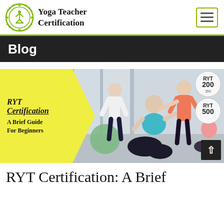Yoga Teacher Certification
Blog
[Figure (photo): RYT Certification: A Brief Guide For Beginners — promotional banner image showing yoga instructor adjusting student's pose in a studio, with yellow graphic panel on the left and RYT 200/500 certification badges on the right.]
RYT Certification: A Brief